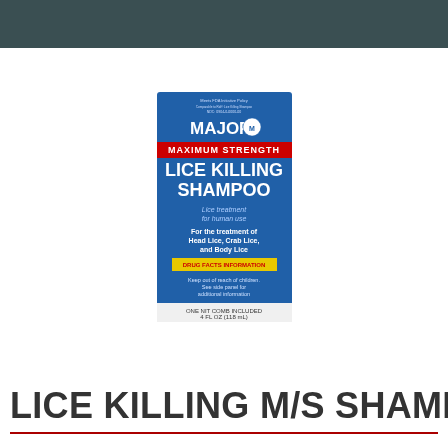[Figure (photo): Product photo of Major brand Maximum Strength Lice Killing Shampoo bottle with blue label. Label shows MAJOR brand name, MAXIMUM STRENGTH in red, LICE KILLING SHAMPOO in large white text, Lice treatment for human use, For the treatment of Head Lice, Crab Lice, and Body Lice, ONE NIT COMB INCLUDED, 4 FL OZ (118 mL).]
LICE KILLING M/S SHAMPOO